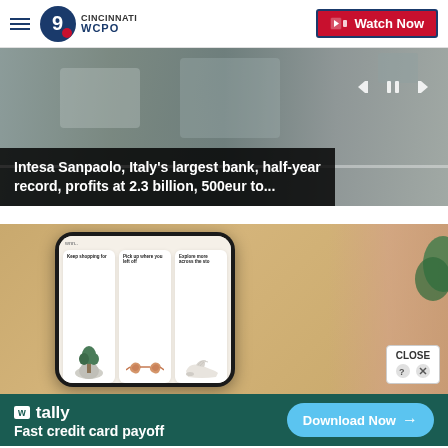WCPO 9 Cincinnati — Watch Now
[Figure (screenshot): Video player showing a blurred background scene with video controls (skip back, pause, skip forward) and a progress bar]
Intesa Sanpaolo, Italy's largest bank, half-year record, profits at 2.3 billion, 500eur to...
[Figure (photo): Person holding a smartphone showing a shopping app with cards: 'Keep shopping for', 'Pick up where you left off', 'Explore more across the sto...' with images of a plant, sunglasses, and sneakers]
CLOSE
[Figure (screenshot): Tally advertisement banner: w tally logo, 'Fast credit card payoff', Download Now button with arrow]